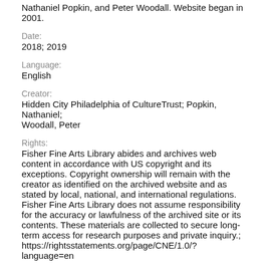Nathaniel Popkin, and Peter Woodall. Website began in 2001.
Date:
2018; 2019
Language:
English
Creator:
Hidden City Philadelphia of CultureTrust; Popkin, Nathaniel; Woodall, Peter
Rights:
Fisher Fine Arts Library abides and archives web content in accordance with US copyright and its exceptions. Copyright ownership will remain with the creator as identified on the archived website and as stated by local, national, and international regulations. Fisher Fine Arts Library does not assume responsibility for the accuracy or lawfulness of the archived site or its contents. These materials are collected to secure long-term access for research purposes and private inquiry.; https://rightsstatements.org/page/CNE/1.0/?language=en
Source:
http://hiddencityphila.org/
Collection: